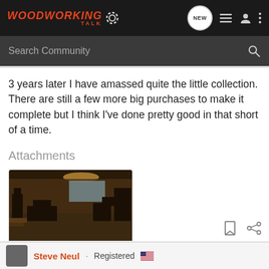Woodworking Talk — NEW [nav icons]
Search Community
3 years later I have amassed quite the little collection. There are still a few more big purchases to make it complete but I think I've done pretty good in that short of a time.
Attachments
[Figure (photo): Woodworking shop interior showing tools and equipment]
image-3818592502....
47.1 KB   Views: 238
Steve Neul · Registered 🇺🇸